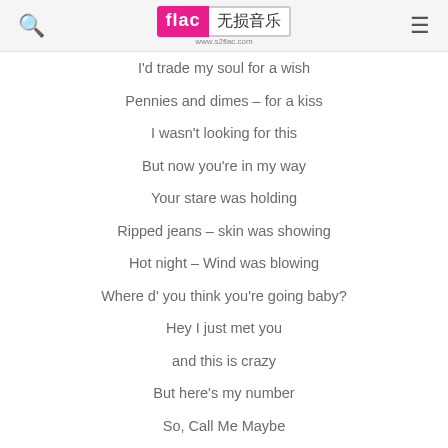flac 无损音乐 www.s2flac.com
I'd trade my soul for a wish
Pennies and dimes – for a kiss
I wasn't looking for this
But now you're in my way
Your stare was holding
Ripped jeans – skin was showing
Hot night – Wind was blowing
Where d' you think you're going baby?
Hey I just met you
and this is crazy
But here's my number
So, Call Me Maybe
It's hard to look right